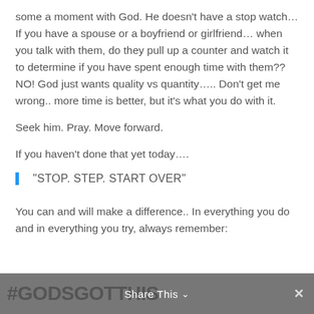some a moment with God. He doesn't have a stop watch... If you have a spouse or a boyfriend or girlfriend... when you talk with them, do they pull up a counter and watch it to determine if you have spent enough time with them?? NO! God just wants quality vs quantity..... Don't get me wrong.. more time is better, but it's what you do with it.
Seek him. Pray. Move forward.
If you haven't done that yet today....
“STOP. STEP. START OVER”
You can and will make a difference.. In everything you do and in everything you try, always remember:
#GODSGOTTHIS  Share This  ×